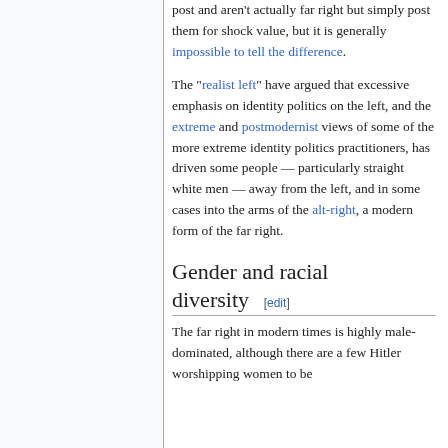post and aren't actually far right but simply post them for shock value, but it is generally impossible to tell the difference.
The "realist left" have argued that excessive emphasis on identity politics on the left, and the extreme and postmodernist views of some of the more extreme identity politics practitioners, has driven some people — particularly straight white men — away from the left, and in some cases into the arms of the alt-right, a modern form of the far right.
Gender and racial diversity [edit]
The far right in modern times is highly male-dominated, although there are a few Hitler worshipping women to be